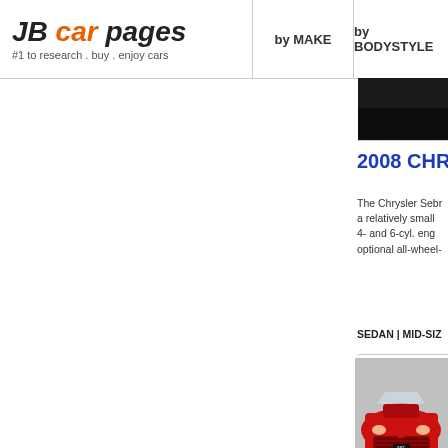JB car pages — #1 to research . buy . enjoy cars | by MAKE | by BODYSTYLE
[Figure (photo): Dark/black cropped photo of a car (Chrysler Sebring) at the top right]
2008 CHRY...
The Chrysler Sebr... a relatively small ... 4- and 6-cyl. eng... optional all-wheel-...
SEDAN | MID-SIZ...
[Figure (photo): Photo of a red 2008 Dodge Charger SRT front view on grey background]
2008 DODO...